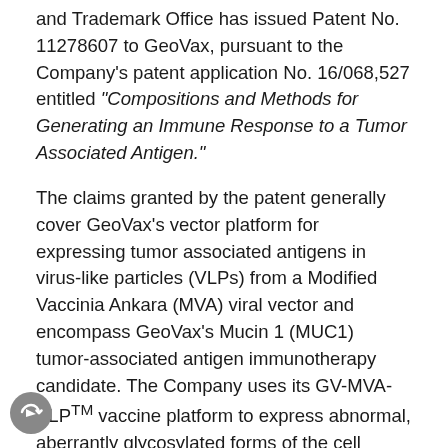and Trademark Office has issued Patent No. 11278607 to GeoVax, pursuant to the Company's patent application No. 16/068,527 entitled "Compositions and Methods for Generating an Immune Response to a Tumor Associated Antigen."
The claims granted by the patent generally cover GeoVax's vector platform for expressing tumor associated antigens in virus-like particles (VLPs) from a Modified Vaccinia Ankara (MVA) viral vector and encompass GeoVax's Mucin 1 (MUC1) tumor-associated antigen immunotherapy candidate. The Company uses its GV-MVA-VLP™ vaccine platform to express abnormal, aberrantly glycosylated forms of the cell surface-associated MUC1 protein that is associated with